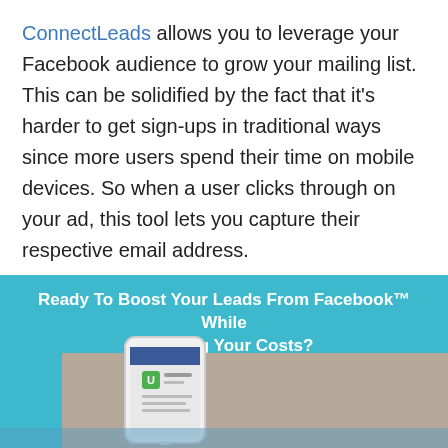ConnectLeads allows you to leverage your Facebook audience to grow your mailing list. This can be solidified by the fact that it's harder to get sign-ups in traditional ways since more users spend their time on mobile devices. So when a user clicks through on your ad, this tool lets you capture their respective email address.
[Figure (screenshot): A promotional banner with a teal/cyan background reading 'Ready To Boost Your Leads From Facebook™ While Crushing Your Costs?' with an image of a smartphone displaying a Facebook lead ad interface below.]